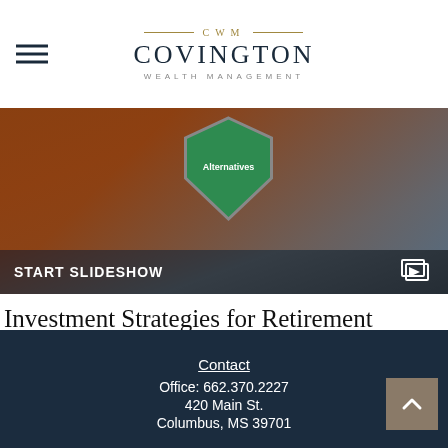CWM Covington Wealth Management
[Figure (photo): Hero image showing hands holding a tablet or card with a shield graphic labeled 'Alternatives', with a 'START SLIDESHOW' overlay bar at the bottom and a slideshow icon on the right]
Investment Strategies for Retirement
Investment tools and strategies that can enable you to pursue your retirement goals.
Contact
Office: 662.370.2227
420 Main St.
Columbus, MS 39701